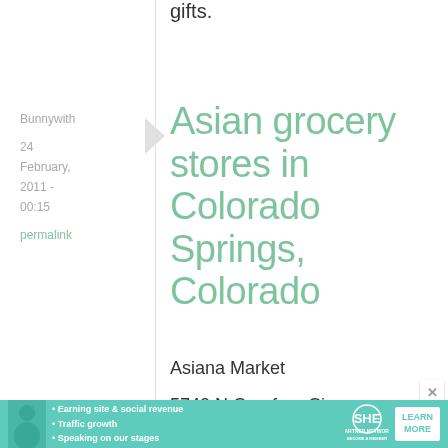gifts.
Bunnywith
24 February, 2011 - 00:15
permalink
Asian grocery stores in Colorado Springs, Colorado
Asiana Market
5740 N Carefree Cir,
[Figure (infographic): SHE Partner Network advertisement banner with photo of woman, bullet points about earning site & social revenue, traffic growth, speaking on stages, SHE logo, and LEARN MORE button]